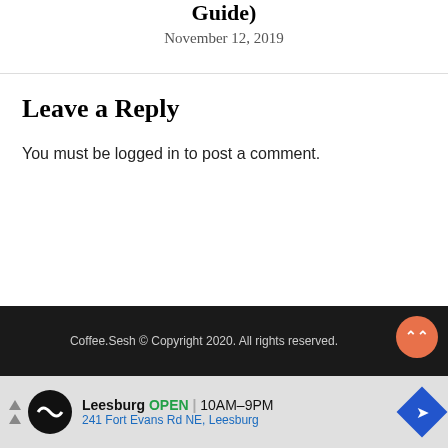Guide)
November 12, 2019
Leave a Reply
You must be logged in to post a comment.
Coffee.Sesh © Copyright 2020. All rights reserved.
[Figure (infographic): Advertisement banner for Leesburg store showing logo, OPEN status, hours 10AM-9PM, and address 241 Fort Evans Rd NE, Leesburg]